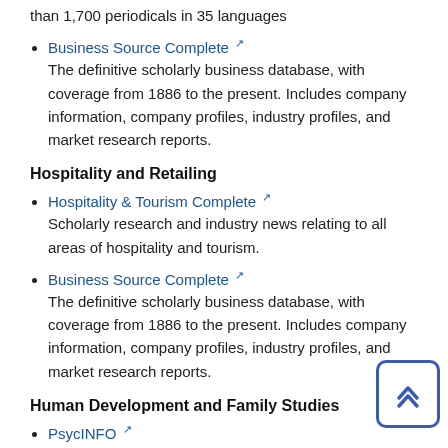than 1,700 periodicals in 35 languages
Business Source Complete — The definitive scholarly business database, with coverage from 1886 to the present. Includes company information, company profiles, industry profiles, and market research reports.
Hospitality and Retailing
Hospitality & Tourism Complete — Scholarly research and industry news relating to all areas of hospitality and tourism.
Business Source Complete — The definitive scholarly business database, with coverage from 1886 to the present. Includes company information, company profiles, industry profiles, and market research reports.
Human Development and Family Studies
PsycINFO — Psychology journal coverage from 1887 to the present, including more than 1,700 periodicals in 35 languages
Psychology and Behavioral Sciences Collection — Comprehensive database on psychiatry, psychology, and related